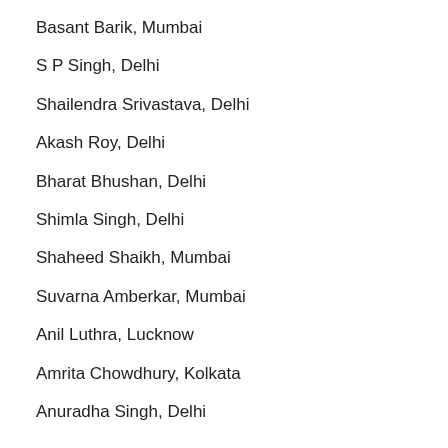Basant Barik, Mumbai
S P Singh, Delhi
Shailendra Srivastava, Delhi
Akash Roy, Delhi
Bharat Bhushan, Delhi
Shimla Singh, Delhi
Shaheed Shaikh, Mumbai
Suvarna Amberkar, Mumbai
Anil Luthra, Lucknow
Amrita Chowdhury, Kolkata
Anuradha Singh, Delhi